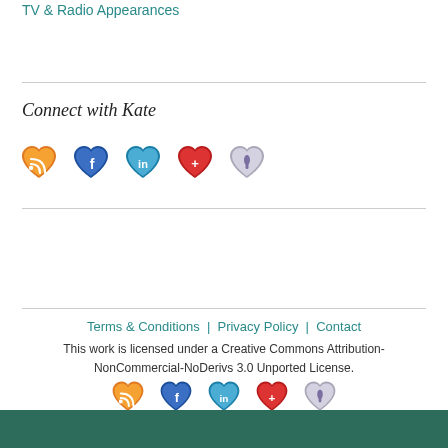TV & Radio Appearances
Connect with Kate
[Figure (illustration): Row of five heart-shaped social media icons: RSS (orange), Facebook (blue), LinkedIn (light blue), Google+ (red), and a purple/grey heart icon]
Terms & Conditions | Privacy Policy | Contact
This work is licensed under a Creative Commons Attribution-NonCommercial-NoDerivs 3.0 Unported License.
[Figure (illustration): Row of five heart-shaped social media icons in footer: RSS (orange), Facebook (blue), LinkedIn (light blue), Google+ (red), and a purple/grey heart icon]
[Figure (illustration): Dark green bottom bar with repeating heart and phone icon pattern]